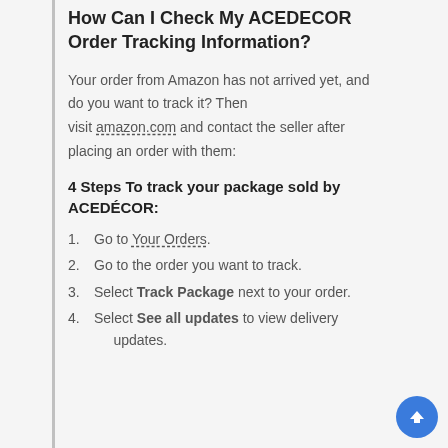How Can I Check My ACEDECOR Order Tracking Information?
Your order from Amazon has not arrived yet, and do you want to track it? Then visit amazon.com and contact the seller after placing an order with them:
4 Steps To track your package sold by ACEDÉCOR:
Go to Your Orders.
Go to the order you want to track.
Select Track Package next to your order.
Select See all updates to view delivery updates.